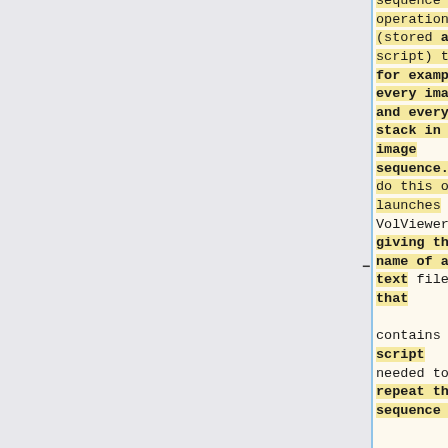sequence of operations (stored as a script) to, for example, every image and every stack in an image sequence. To do this one launches VolViewer giving the name of a text file that contains the script needed to repeat the sequence of